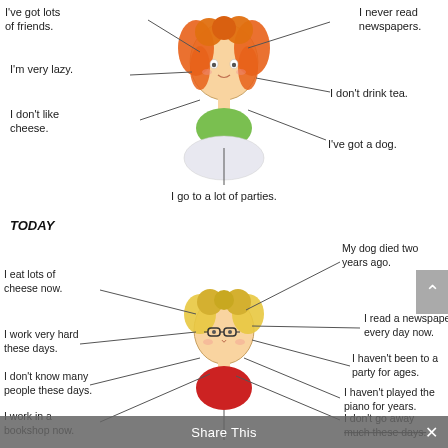[Figure (illustration): Mind-map style diagram of a young woman with red curly hair in center, with radiating lines to text phrases: 'I've got lots of friends.', 'I never read newspapers.', 'I'm very lazy.', 'I don't drink tea.', 'I don't like cheese.', 'I've got a dog.', 'I go to a lot of parties.']
[Figure (illustration): Mind-map style diagram labeled TODAY of a woman with blonde hair and glasses in center, with radiating lines to text phrases: 'My dog died two years ago.', 'I read a newspaper every day now.', 'I haven't been to a party for ages.', 'I haven't played the piano for years.', 'I don't go away much these days.' (with strikethrough), 'I eat lots of cheese now.', 'I work very hard these days.', 'I don't know many people these days.', 'I work in a bookshop now.']
Share This